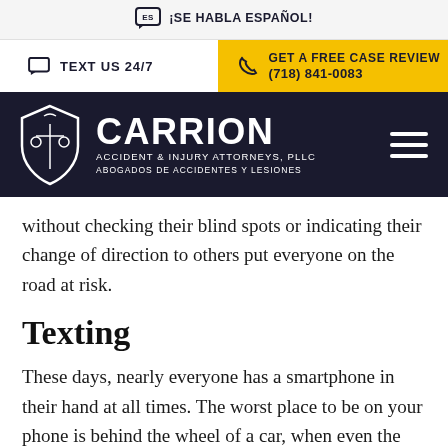¡SE HABLA ESPAÑOL!
TEXT US 24/7 | GET A FREE CASE REVIEW (718) 841-0083
[Figure (logo): Carrion Accident & Injury Attorneys, PLLC logo with scales of justice shield icon and text ABOGADOS DE ACCIDENTES Y LESIONES]
without checking their blind spots or indicating their change of direction to others put everyone on the road at risk.
Texting
These days, nearly everyone has a smartphone in their hand at all times. The worst place to be on your phone is behind the wheel of a car, when even the slightest distraction can lead to a serious accident. Texting while